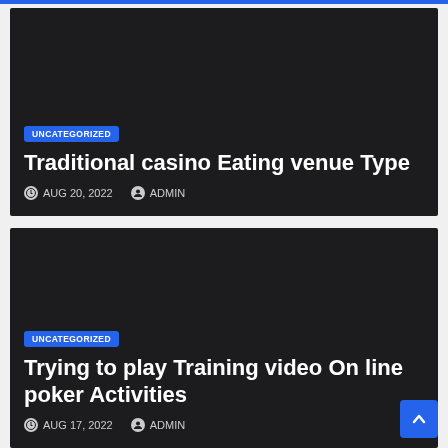[Figure (screenshot): Dark card for blog post: UNCATEGORIZED badge, title 'Traditional casino Eating venue Type', date AUG 20, 2022, author ADMIN]
[Figure (screenshot): Dark card for blog post: UNCATEGORIZED badge, title 'Trying to play Training video On line poker Activities', date AUG 17, 2022, author ADMIN]